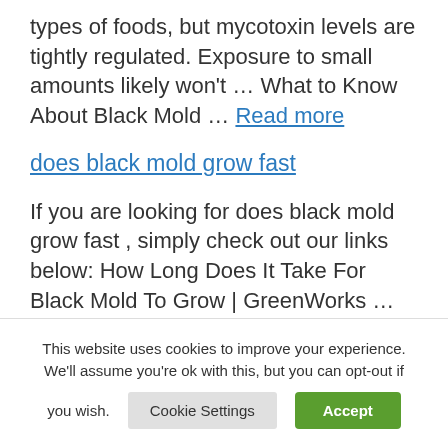types of foods, but mycotoxin levels are tightly regulated. Exposure to small amounts likely won't … What to Know About Black Mold … Read more
does black mold grow fast
If you are looking for does black mold grow fast , simply check out our links below: How Long Does It Take For Black Mold To Grow | GreenWorks … So, How Fast Does Mold Spread? What Does Black Mold Look Like? Detecting
This website uses cookies to improve your experience. We'll assume you're ok with this, but you can opt-out if you wish.